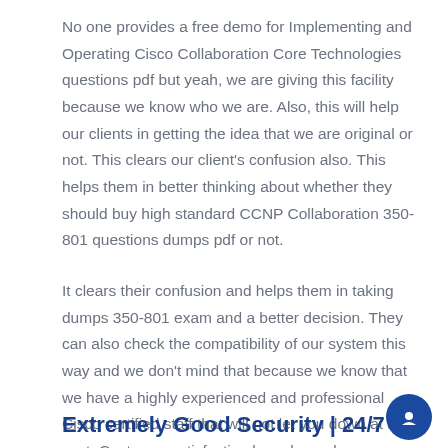No one provides a free demo for Implementing and Operating Cisco Collaboration Core Technologies questions pdf but yeah, we are giving this facility because we know who we are. Also, this will help our clients in getting the idea that we are original or not. This clears our client's confusion also. This helps them in better thinking about whether they should buy high standard CCNP Collaboration 350-801 questions dumps pdf or not.
It clears their confusion and helps them in taking dumps 350-801 exam and a better decision. They can also check the compatibility of our system this way and we don't mind that because we know that we have a highly experienced and professional Cisco certified staff that will not let you down at any cost. Customer satisfaction has always been our priority and will remain too.
Extremely Good Security | 24/7